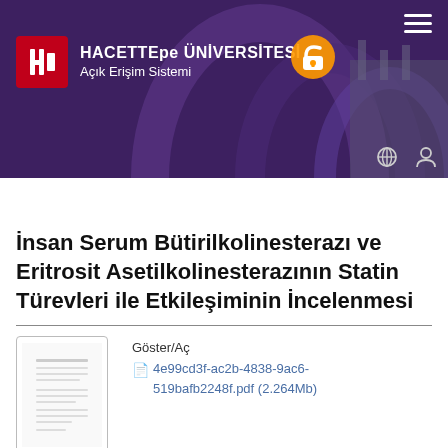[Figure (logo): Hacettepe Üniversitesi Açık Erişim Sistemi header banner with university logo, open access lock icon, and purple background with decorative arches]
Öğe Göster
İnsan Serum Bütirilkolinesterazı ve Eritrosit Asetilkolinesterazının Statin Türevleri ile Etkileşiminin İncelenmesi
Göster/Aç
4e99cd3f-ac2b-4838-9ac6-519bafb2248f.pdf (2.264Mb)
Tarih
2014